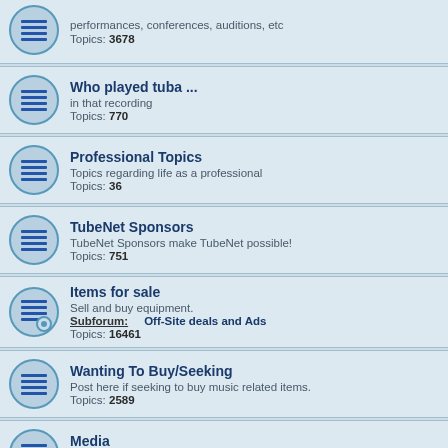performances, conferences, auditions, etc
Topics: 3678
Who played tuba ...
in that recording
Topics: 770
Professional Topics
Topics regarding life as a professional
Topics: 36
TubeNet Sponsors
TubeNet Sponsors make TubeNet possible!
Topics: 751
Items for sale
Sell and buy equipment.
Subforum: Off-Site deals and Ads
Topics: 16461
Wanting To Buy/Seeking
Post here if seeking to buy music related items.
Topics: 2589
Media
Musical clipart and multimedia
Topics: 1370
Repair/Mod
Repair and modification discussion
Topics: 430
Non-Music